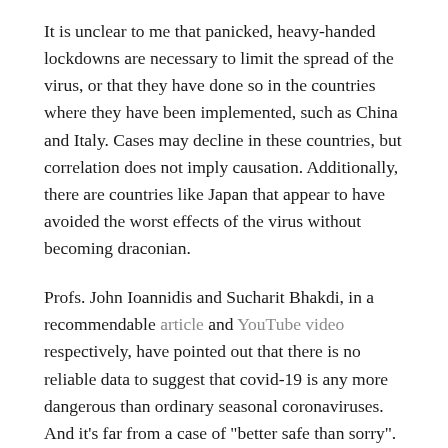It is unclear to me that panicked, heavy-handed lockdowns are necessary to limit the spread of the virus, or that they have done so in the countries where they have been implemented, such as China and Italy. Cases may decline in these countries, but correlation does not imply causation. Additionally, there are countries like Japan that appear to have avoided the worst effects of the virus without becoming draconian.
Profs. John Ioannidis and Sucharit Bhakdi, in a recommendable article and YouTube video respectively, have pointed out that there is no reliable data to suggest that covid-19 is any more dangerous than ordinary seasonal coronaviruses. And it's far from a case of "better safe than sorry". Not only does this lockdown establish a terrible precedent for state power in this country, but it may